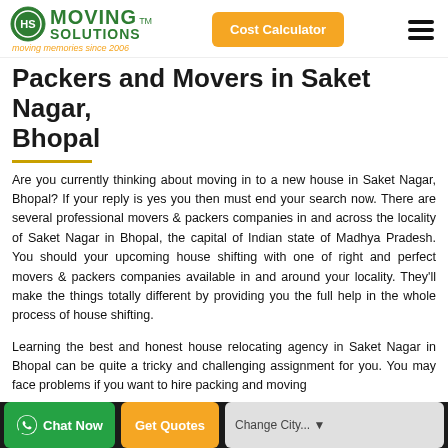Moving Solutions — moving memories since 2006 | Cost Calculator
Packers and Movers in Saket Nagar, Bhopal
Are you currently thinking about moving in to a new house in Saket Nagar, Bhopal? If your reply is yes you then must end your search now. There are several professional movers & packers companies in and across the locality of Saket Nagar in Bhopal, the capital of Indian state of Madhya Pradesh. You should your upcoming house shifting with one of right and perfect movers & packers companies available in and around your locality. They'll make the things totally different by providing you the full help in the whole process of house shifting.
Learning the best and honest house relocating agency in Saket Nagar in Bhopal can be quite a tricky and challenging assignment for you. You may face problems if you want to hire packing and moving...
Chat Now | Get Quotes | Change City...